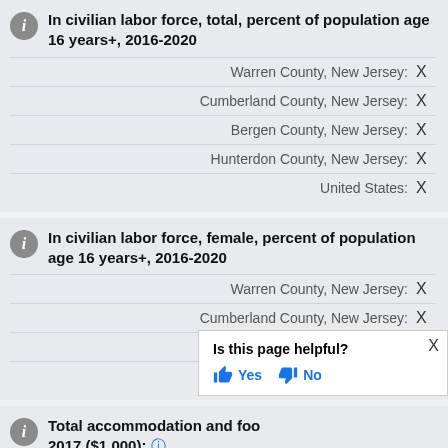In civilian labor force, total, percent of population age 16 years+, 2016-2020
Warren County, New Jersey: X
Cumberland County, New Jersey: X
Bergen County, New Jersey: X
Hunterdon County, New Jersey: X
United States: X
In civilian labor force, female, percent of population age 16 years+, 2016-2020
Warren County, New Jersey: X
Cumberland County, New Jersey: X
Bergen County, New Jersey: X
Hunterdon County, New Jersey: X
Is this page helpful? Yes No
Total accommodation and food...